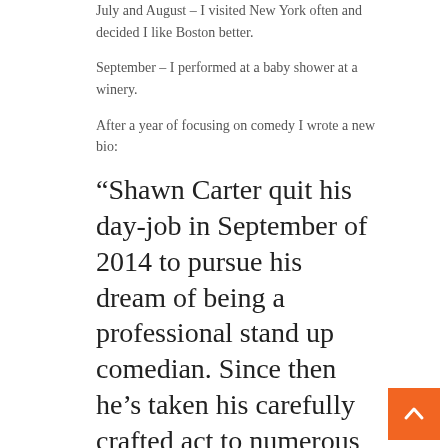July and August – I visited New York often and decided I like Boston better.
September – I performed at a baby shower at a winery.
After a year of focusing on comedy I wrote a new bio:
“Shawn Carter quit his day-job in September of 2014 to pursue his dream of being a professional stand up comedian. Since then he’s taken his carefully crafted act to numerous comedy clubs